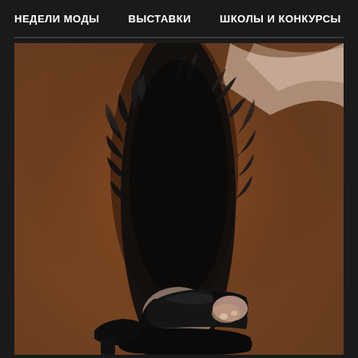НЕДЕЛИ МОДЫ   ВЫСТАВКИ   ШКОЛЫ И КОНКУРСЫ  >
[Figure (photo): Close-up fashion photo of a foot wearing a black open-toe platform shoe/sandal with feather trim around the ankle, photographed on a wooden floor with a sheer fabric visible in the background.]